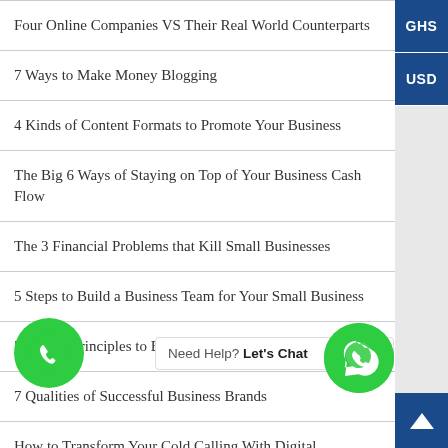Four Online Companies VS Their Real World Counterparts
7 Ways to Make Money Blogging
4 Kinds of Content Formats to Promote Your Business
The Big 6 Ways of Staying on Top of Your Business Cash Flow
The 3 Financial Problems that Kill Small Businesses
5 Steps to Build a Business Team for Your Small Business
5 Simple Principles to Build a Successful Business
7 Qualities of Successful Business Brands
How to Transform Your Cold Calling With Digital Technology
What is SEO (Search Engine Optimization)?
Need Help? Let's Chat